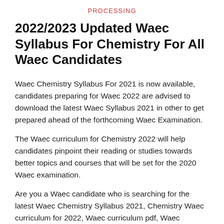PROCESSING
2022/2023 Updated Waec Syllabus For Chemistry For All Waec Candidates
Waec Chemistry Syllabus For 2021 is now available, candidates preparing for Waec 2022 are advised to download the latest Waec Syllabus 2021 in other to get prepared ahead of the forthcoming Waec Examination.
The Waec curriculum for Chemistry 2022 will help candidates pinpoint their reading or studies towards better topics and courses that will be set for the 2020 Waec examination.
Are you a Waec candidate who is searching for the latest Waec Chemistry Syllabus 2021, Chemistry Waec curriculum for 2022, Waec curriculum pdf, Waec Chemistry pdf, or Waec curriculum Chemistry? Then you are on the right page Let get started with Waec curriculum for Chemistry 2022.